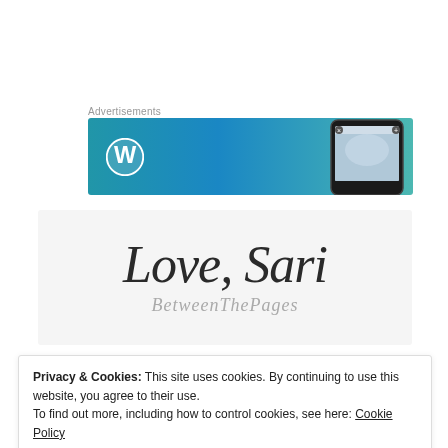Advertisements
[Figure (screenshot): WordPress advertisement banner with WordPress logo on blue-teal gradient background and phone mockup on right]
[Figure (logo): Blog logo reading 'Love, Sari' in cursive script and 'BetweenThePages' in lighter cursive beneath, on light gray background]
Privacy & Cookies: This site uses cookies. By continuing to use this website, you agree to their use.
To find out more, including how to control cookies, see here: Cookie Policy
Close and accept
Sep 17, 2019
Sep 18, 2019